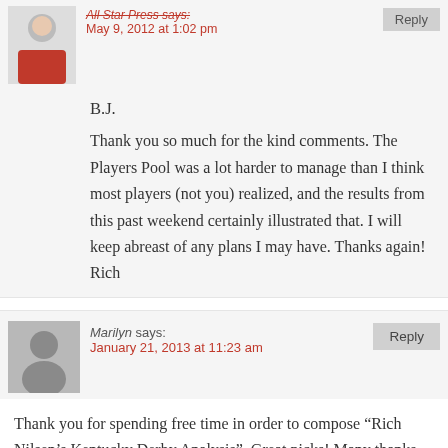May 9, 2012 at 1:02 pm
B.J.

Thank you so much for the kind comments. The Players Pool was a lot harder to manage than I think most players (not you) realized, and the results from this past weekend certainly illustrated that. I will keep abreast of any plans I may have. Thanks again! Rich
Marilyn says: January 21, 2013 at 11:23 am
Thank you for spending free time in order to compose “Rich Nilsen’s Kentucky Derby Analysis”. Great picks! Many thanks again, Marilyn